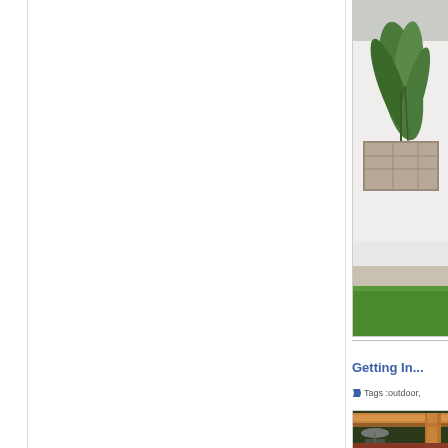[Figure (photo): Partial view of a webpage with white main content area on left, and right sidebar showing a garden/outdoor scene with white wall, tropical plants in a raised stone planter, and green artificial grass at bottom]
Getting In...
Tags :outdoor,
[Figure (photo): Partial image of a wooden pergola structure with timber beams, outdoor patio furniture including umbrella and chairs visible in background, warm wood tones]